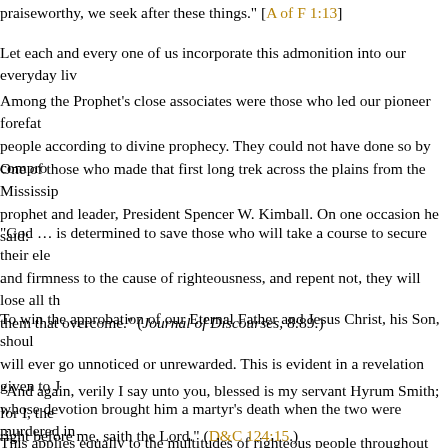praiseworthy, we seek after these things." [A of F 1:13]
Let each and every one of us incorporate this admonition into our everyday liv
Among the Prophet’s close associates were those who led our pioneer forefat people according to divine prophecy. They could not have done so by compro
One of those who made that first long trek across the plains from the Mississip prophet and leader, President Spencer W. Kimball. On one occasion he said:
“God … is determined to save those who will take a course to secure their ele and firmness to the cause of righteousness, and repent not, they will lose all th them that overcome.” (Journal of Discourses, 8:89.)
To win the approbation of our Eternal Father and Jesus Christ, his Son, shoul will ever go unnoticed or unrewarded. This is evident in a revelation given to J whose devotion brought him a martyr’s death when the two were murdered in
“And again, verily I say unto you, blessed is my servant Hyrum Smith; for I, the right before me, saith the Lord.” (D&C 124:15.)
This applies equally to the multitudes of righteous people throughout the world
The prophets of the Old and New Testaments, and those of the Book of Morm